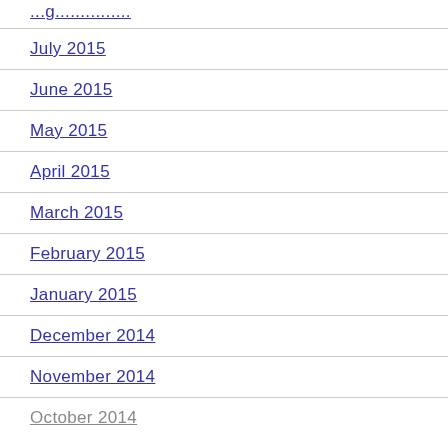...g...............
July 2015
June 2015
May 2015
April 2015
March 2015
February 2015
January 2015
December 2014
November 2014
October 2014